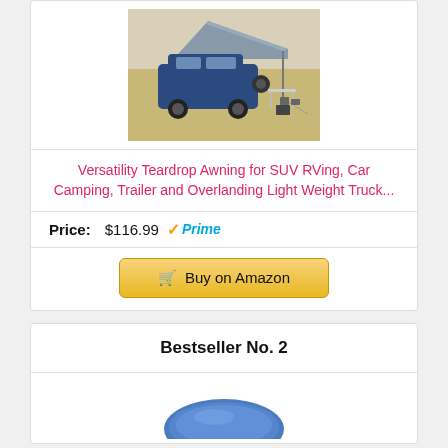[Figure (photo): Photo of a blue SUV/truck with a gray teardrop awning extended, set up at a campsite in a desert environment with a folding table and chairs underneath.]
Versatility Teardrop Awning for SUV RVing, Car Camping, Trailer and Overlanding Light Weight Truck...
Price: $116.99 ✓Prime
Buy on Amazon
Bestseller No. 2
[Figure (photo): Partial view of a blue tent or camping product at the bottom of the page.]